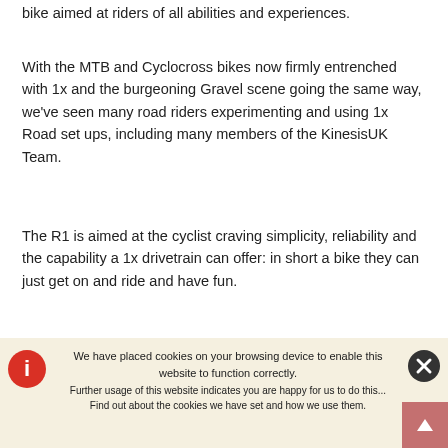bike aimed at riders of all abilities and experiences.
With the MTB and Cyclocross bikes now firmly entrenched with 1x and the burgeoning Gravel scene going the same way, we've seen many road riders experimenting and using 1x Road set ups, including many members of the KinesisUK Team.
The R1 is aimed at the cyclist craving simplicity, reliability and the capability a 1x drivetrain can offer: in short a bike they can just get on and ride and have fun.
The R1 would make a great everyday road bike with an easy-to-use and easy-to-maintain drivetrain for their commute, their spins into the countryside and their trip to cafe. With this in mind we have specified the R1 with...
We have placed cookies on your browsing device to enable this website to function correctly.
Further usage of this website indicates you are happy for us to do this...
Find out about the cookies we have set and how we use them.